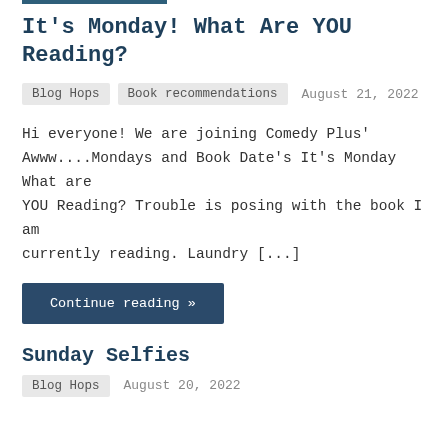It’s Monday! What Are YOU Reading?
Blog Hops   Book recommendations   August 21, 2022
Hi everyone! We are joining Comedy Plus’ Awww....Mondays and Book Date’s It’s Monday What are YOU Reading? Trouble is posing with the book I am currently reading. Laundry [...]
Continue reading »
Sunday Selfies
Blog Hops   August 20, 2022